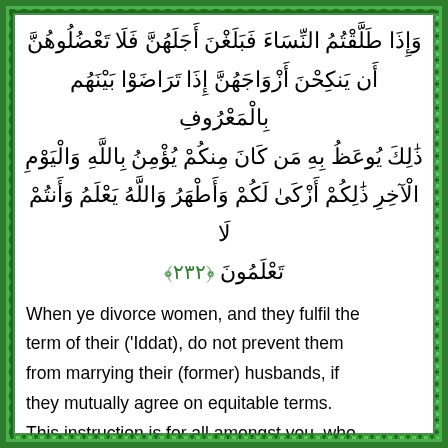وَإِذَا طَلَّقْتُمُ النِّسَاءَ فَبَلَغْنَ أَجَلَهُنَّ فَلَا تَعْضُلُوهُنَّ أَن يَنكِحْنَ أَزْوَاجَهُنَّ إِذَا تَرَاضَوْا بَيْنَهُم بِالْمَعْرُوفِ ذَٰلِكَ يُوعَظُ بِهِ مَن كَانَ مِنكُمْ يُؤْمِنُ بِاللَّهِ وَالْيَوْمِ الْآخِرِ ذَٰلِكُمْ أَزْكَىٰ لَكُمْ وَأَطْهَرُ وَاللَّهُ يَعْلَمُ وَأَنتُمْ لَا تَعْلَمُونَ ﴿٢٣٢﴾
When ye divorce women, and they fulfil the term of their ('Iddat), do not prevent them from marrying their (former) husbands, if they mutually agree on equitable terms. This instruction is for all amongst you, who believe in Allah and the Last Day. That is